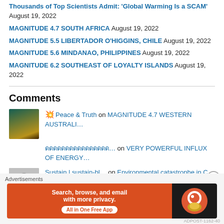Thousands of Top Scientists Admit: 'Global Warming Is a SCAM' August 19, 2022
MAGNITUDE 4.7 SOUTH AFRICA August 19, 2022
MAGNITUDE 5.5 LIBERTADOR O'HIGGINS, CHILE August 19, 2022
MAGNITUDE 5.6 MINDANAO, PHILIPPINES August 19, 2022
MAGNITUDE 6.2 SOUTHEAST OF LOYALTY ISLANDS August 19, 2022
Comments
🌟Peace & Truth on MAGNITUDE 4.7 WESTERN AUSTRALI…
ดดดดดดดดดดดดดดดด… on VERY POWERFUL INFLUX OF ENERGY…
Sustain | sustain-bl… on Environmental catastrophe in C…
Advertisements
[Figure (screenshot): DuckDuckGo advertisement banner: orange background with text 'Search, browse, and email with more privacy. All in One Free App' and DuckDuckGo logo on dark right panel]